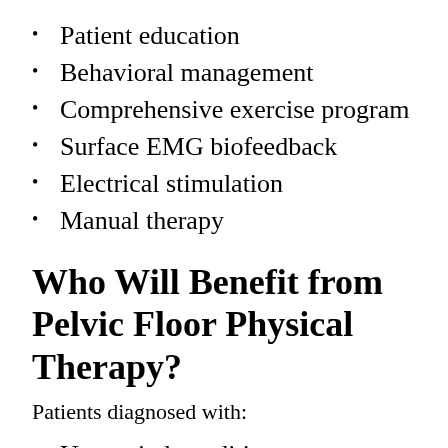Patient education
Behavioral management
Comprehensive exercise program
Surface EMG biofeedback
Electrical stimulation
Manual therapy
Who Will Benefit from Pelvic Floor Physical Therapy?
Patients diagnosed with:
Urogenital conditions